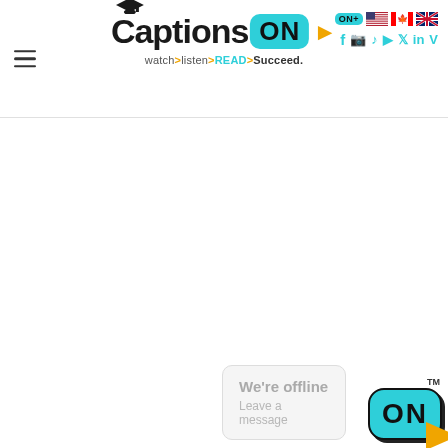CaptionsON — watch > listen > READ > Succeed.
[Figure (logo): CaptionsON logo with teal ON badge, graduation cap, orange arrow, and tagline 'watch > listen > READ > Succeed.' with social media icons and country flags on the right side of the header.]
[Figure (logo): CaptionsON chat widget bottom right: offline message box saying 'We're offline / Leave a message' and ON teal bubble logo with TM badge.]